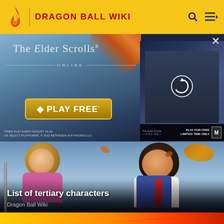DRAGON BALL WIKI
[Figure (screenshot): Advertisement for The Elder Scrolls Online — 'PLAY FREE' banner with fantasy battle scene and a secondary dark panel showing a reload icon and 'PLAY FOR FREE LIMITED TIME ONLY' text]
[Figure (illustration): Animated illustration of two Dragon Ball characters — a blonde woman and a dark-haired man in a blue vest with a red tie, facing each other in a romantic scene]
List of tertiary characters
Dragon Ball Wiki